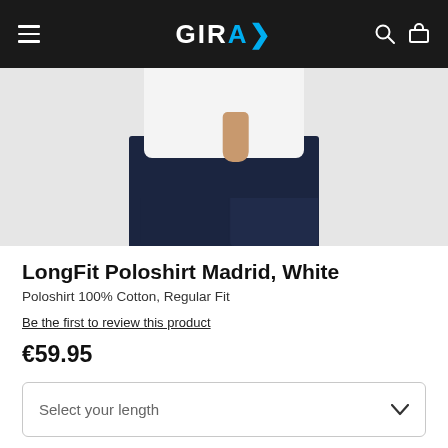GIRAY
[Figure (photo): Product photo of a man wearing navy blue trousers and a white shirt, cropped to show torso and legs]
LongFit Poloshirt Madrid, White
Poloshirt 100% Cotton, Regular Fit
Be the first to review this product
€59.95
Select your length
Select your length